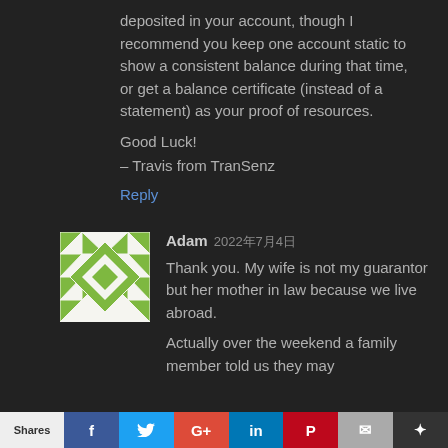deposited in your account, though I recommend you keep one account static to show a consistent balance during that time, or get a balance certificate (instead of a statement) as your proof of resources.
Good Luck!
– Travis from TranSenz
Reply
Adam 2022年7月4日
Thank you. My wife is not my guarantor but her mother in law because we live abroad.
Actually over the weekend a family member told us they may
Shares  f  t  G+  in  P  ✉  ✦